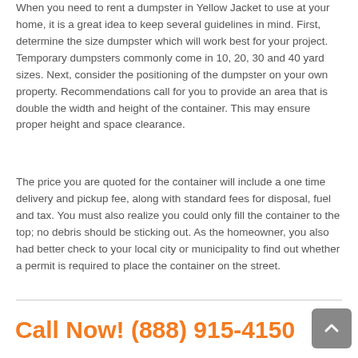When you need to rent a dumpster in Yellow Jacket to use at your home, it is a great idea to keep several guidelines in mind. First, determine the size dumpster which will work best for your project. Temporary dumpsters commonly come in 10, 20, 30 and 40 yard sizes. Next, consider the positioning of the dumpster on your own property. Recommendations call for you to provide an area that is double the width and height of the container. This may ensure proper height and space clearance.
The price you are quoted for the container will include a one time delivery and pickup fee, along with standard fees for disposal, fuel and tax. You must also realize you could only fill the container to the top; no debris should be sticking out. As the homeowner, you also had better check to your local city or municipality to find out whether a permit is required to place the container on the street.
Call Now! (888) 915-4150